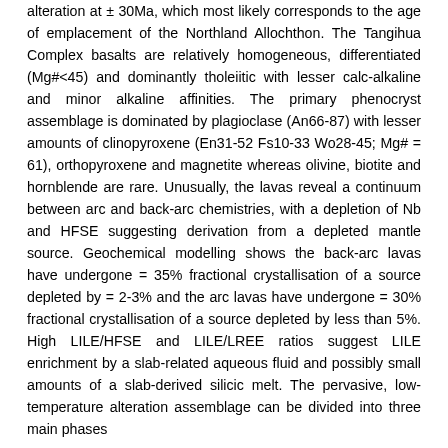alteration at ± 30Ma, which most likely corresponds to the age of emplacement of the Northland Allochthon. The Tangihua Complex basalts are relatively homogeneous, differentiated (Mg#<45) and dominantly tholeiitic with lesser calc-alkaline and minor alkaline affinities. The primary phenocryst assemblage is dominated by plagioclase (An66-87) with lesser amounts of clinopyroxene (En31-52 Fs10-33 Wo28-45; Mg# = 61), orthopyroxene and magnetite whereas olivine, biotite and hornblende are rare. Unusually, the lavas reveal a continuum between arc and back-arc chemistries, with a depletion of Nb and HFSE suggesting derivation from a depleted mantle source. Geochemical modelling shows the back-arc lavas have undergone = 35% fractional crystallisation of a source depleted by = 2-3% and the arc lavas have undergone = 30% fractional crystallisation of a source depleted by less than 5%. High LILE/HFSE and LILE/LREE ratios suggest LILE enrichment by a slab-related aqueous fluid and possibly small amounts of a slab-derived silicic melt. The pervasive, low-temperature alteration assemblage can be divided into three main phases